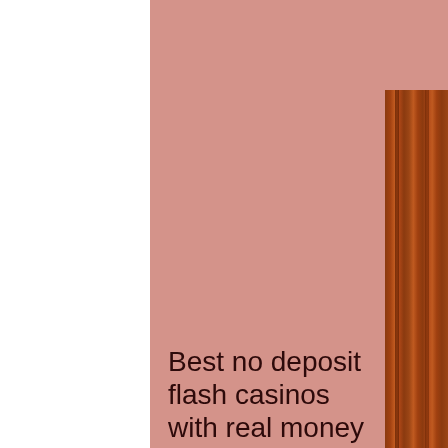[Figure (photo): A pink-painted wall panel occupying the center and right portion of the image, with a wood-grain panel (brown, reddish-brown tones) visible on the right side. The background on the left is white.]
Best no deposit flash casinos with real money